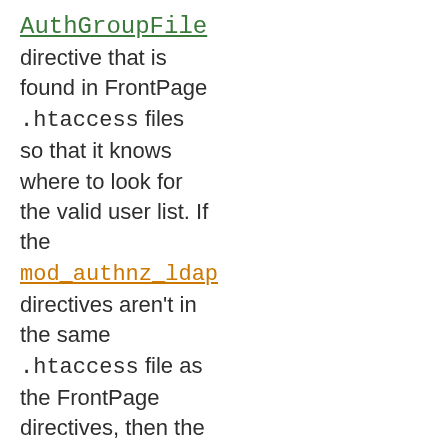AuthGroupFile directive that is found in FrontPage .htaccess files so that it knows where to look for the valid user list. If the mod_authnz_ldap directives aren't in the same .htaccess file as the FrontPage directives, then the hack won't work, because mod_authnz_ldap will never get a chance to process the .htaccess file, and won't be able to find the FrontPage-managed user file.